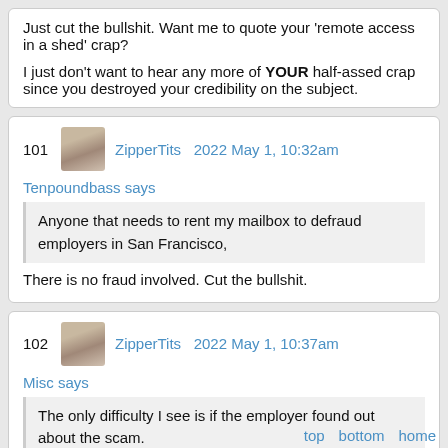Just cut the bullshit. Want me to quote your 'remote access in a shed' crap?

I just don't want to hear any more of YOUR half-assed crap since you destroyed your credibility on the subject.
101  ZipperTits  2022 May 1, 10:32am
Tenpoundbass says
Anyone that needs to rent my mailbox to defraud employers in San Francisco,
There is no fraud involved. Cut the bullshit.
102  ZipperTits  2022 May 1, 10:37am
Misc says
The only difficulty I see is if the employer found out about the scam.
top  bottom  home